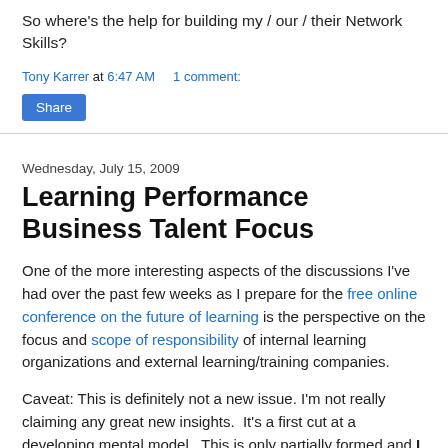So where's the help for building my / our / their Network Skills?
Tony Karrer at 6:47 AM    1 comment:
Share
Wednesday, July 15, 2009
Learning Performance Business Talent Focus
One of the more interesting aspects of the discussions I've had over the past few weeks as I prepare for the free online conference on the future of learning is the perspective on the focus and scope of responsibility of internal learning organizations and external learning/training companies.
Caveat: This is definitely not a new issue. I'm not really claiming any great new insights.  It's a first cut at a developing mental model.  This is only partially formed and I